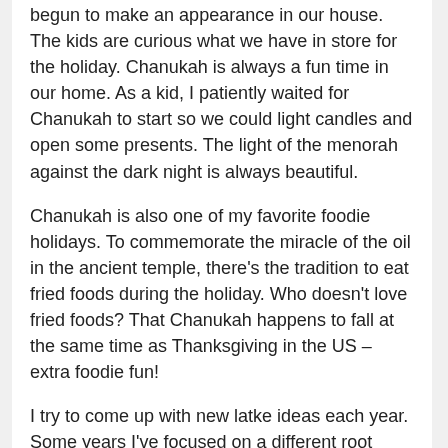begun to make an appearance in our house. The kids are curious what we have in store for the holiday. Chanukah is always a fun time in our home. As a kid, I patiently waited for Chanukah to start so we could light candles and open some presents. The light of the menorah against the dark night is always beautiful.
Chanukah is also one of my favorite foodie holidays. To commemorate the miracle of the oil in the ancient temple, there's the tradition to eat fried foods during the holiday. Who doesn't love fried foods? That Chanukah happens to fall at the same time as Thanksgiving in the US – extra foodie fun!
I try to come up with new latke ideas each year. Some years I've focused on a different root veggies, other years I've added some herbs. This latke idea came to me just the other day as I was making dinner. Mushrooms are one of my favorite veggies. Why not try and add them to latkes? I had a bag of dried wild mushrooms that I thought would complement the latkes very well. I paired the wild mushrooms with some sage and roasted garlic. Latke perfection! I'm so glad I made these right away!
I roasted a head of garlic and then I soaked the mushrooms in boiling water.